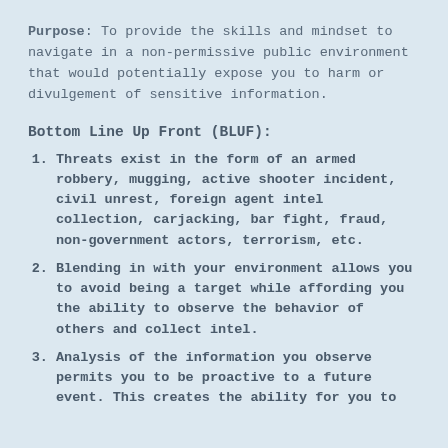Purpose: To provide the skills and mindset to navigate in a non-permissive public environment that would potentially expose you to harm or divulgement of sensitive information.
Bottom Line Up Front (BLUF):
Threats exist in the form of an armed robbery, mugging, active shooter incident, civil unrest, foreign agent intel collection, carjacking, bar fight, fraud, non-government actors, terrorism, etc.
Blending in with your environment allows you to avoid being a target while affording you the ability to observe the behavior of others and collect intel.
Analysis of the information you observe permits you to be proactive to a future event. This creates the ability for you to